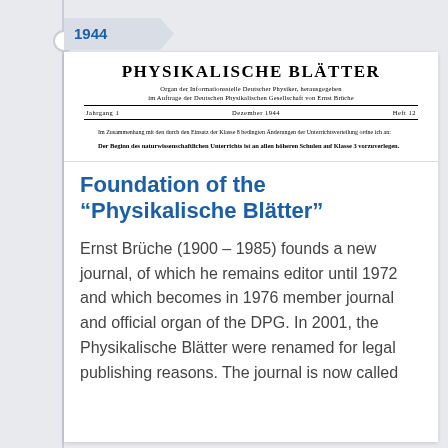1944
[Figure (other): Scanned front page of Physikalische Blätter journal, December 1944, Jahrgang 1, Heft 12, with German text excerpt]
Foundation of the "Physikalische Blätter"
Ernst Brüche (1900 – 1985) founds a new journal, of which he remains editor until 1972 and which becomes in 1976 member journal and official organ of the DPG. In 2001, the Physikalische Blätter were renamed for legal publishing reasons. The journal is now called